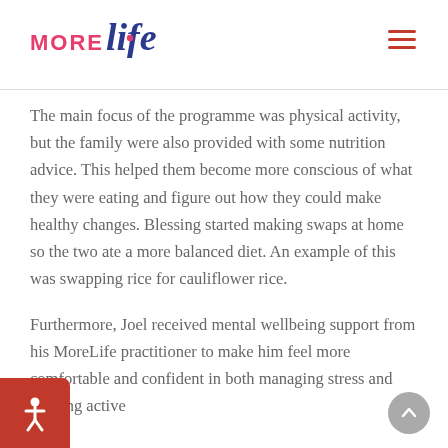MORE Life — navigation header
The main focus of the programme was physical activity, but the family were also provided with some nutrition advice. This helped them become more conscious of what they were eating and figure out how they could make healthy changes. Blessing started making swaps at home so the two ate a more balanced diet. An example of this was swapping rice for cauliflower rice.
Furthermore, Joel received mental wellbeing support from his MoreLife practitioner to make him feel more comfortable and confident in both managing stress and keeping active